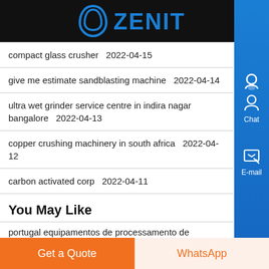ZENIT
compact glass crusher  2022-04-15
give me estimate sandblasting machine  2022-04-14
ultra wet grinder service centre in indira nagar bangalore  2022-04-13
copper crushing machinery in south africa  2022-04-12
carbon activated corp  2022-04-11
You May Like
portugal equipamentos de processamento de mármore